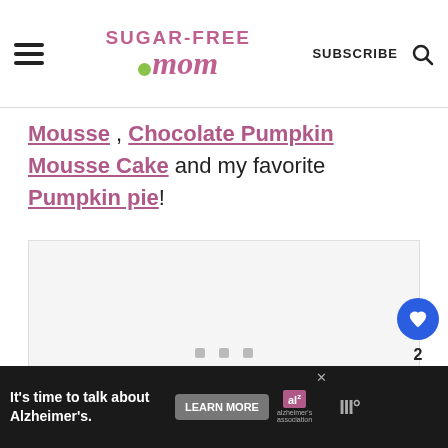Sugar-Free Mom — SUBSCRIBE [search icon]
Mousse , Chocolate Pumpkin Mousse Cake and my favorite Pumpkin pie!
[Figure (photo): Large image placeholder area with light gray background, image loading or not shown]
Advertisement: It's time to talk about Alzheimer's. LEARN MORE [Alzheimer's Association logo]